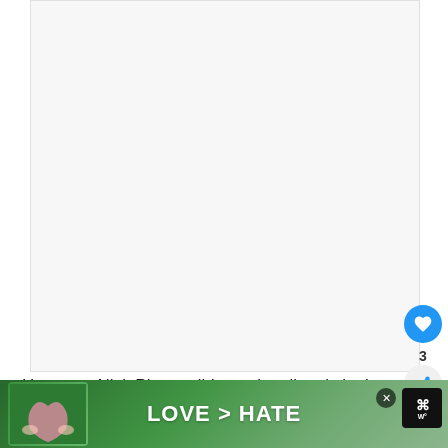[Figure (photo): Large mostly blank/white image area placeholder, appears to be a photo or image that is not fully loaded or is white/light background]
However, Nick Pivetta did not play directly in the
Ma... Pivetta... final de... oast
[Figure (other): Advertisement overlay at the bottom: hands forming a heart shape on green background with text 'LOVE > HATE', close button X, and a logo on the right]